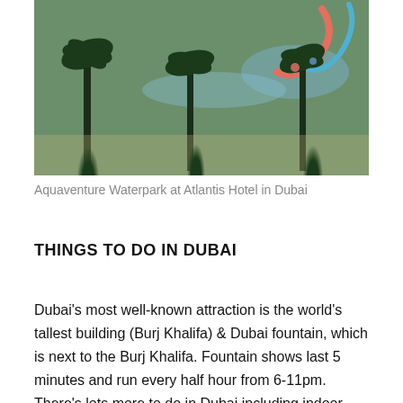[Figure (photo): Aerial view of Aquaventure Waterpark at Atlantis Hotel in Dubai, showing water slides, palm trees, and pool areas]
Aquaventure Waterpark at Atlantis Hotel in Dubai
THINGS TO DO IN DUBAI
Dubai's most well-known attraction is the world's tallest building (Burj Khalifa) & Dubai fountain, which is next to the Burj Khalifa. Fountain shows last 5 minutes and run every half hour from 6-11pm. There's lots more to do in Dubai including indoor skiing, ice skating rink, malls, gold and spice souks, water sports, museums, golf, desert safaris, dhow cruises, beaches, old town area (Bastakiya quarter),Global Village, Burj al Arab hotel, boat ride on Dubai Creek, Jumeirah Mosque (must cover up to enter